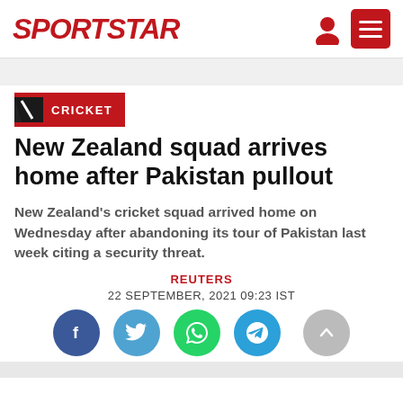SPORTSTAR
CRICKET
New Zealand squad arrives home after Pakistan pullout
New Zealand's cricket squad arrived home on Wednesday after abandoning its tour of Pakistan last week citing a security threat.
REUTERS
22 SEPTEMBER, 2021 09:23 IST